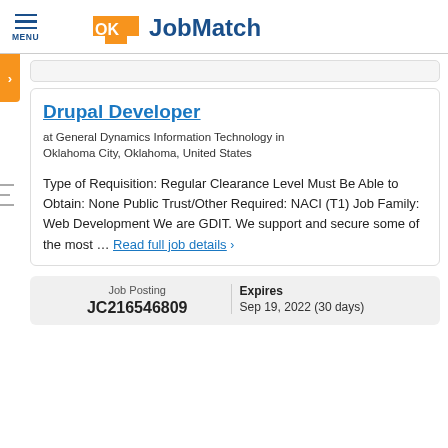MENU | OK JobMatch
Drupal Developer
at General Dynamics Information Technology in Oklahoma City, Oklahoma, United States
Type of Requisition: Regular Clearance Level Must Be Able to Obtain: None Public Trust/Other Required: NACI (T1) Job Family: Web Development We are GDIT. We support and secure some of the most ... Read full job details  >
| Job Posting | Expires |
| --- | --- |
| JC216546809 | Sep 19, 2022 (30 days) |